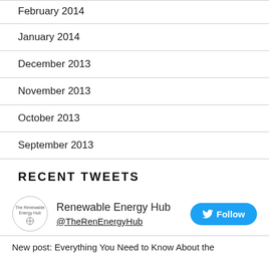February 2014
January 2014
December 2013
November 2013
October 2013
September 2013
RECENT TWEETS
Renewable Energy Hub @TheRenEnergyHub
New post: Everything You Need to Know About the